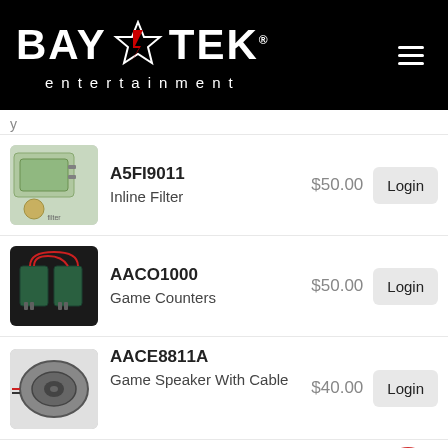[Figure (logo): Bay-Tek Entertainment logo with star/lightning bolt emblem on black background]
y
[Figure (photo): Photo of an inline filter electronic component]
A5FI9011
Inline Filter
$50.00
Login
[Figure (photo): Photo of game counters electronic components on black background]
AACO1000
Game Counters
$50.00
Login
[Figure (photo): Photo of a game speaker with cable]
AACE8811A
Game Speaker With Cable
$40.00
Login
[Figure (photo): Photo of A5TD1 entropy ticket dispenser component (partially visible)]
A5TD1
Entropy Ticket
$4...